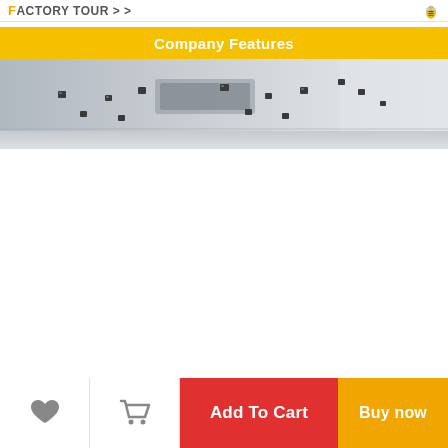FACTORY TOUR > >
Company Features
[Figure (photo): Interior ceiling photo showing recessed lighting fixtures installed in a suspended ceiling panel]
Add To Cart
Buy now